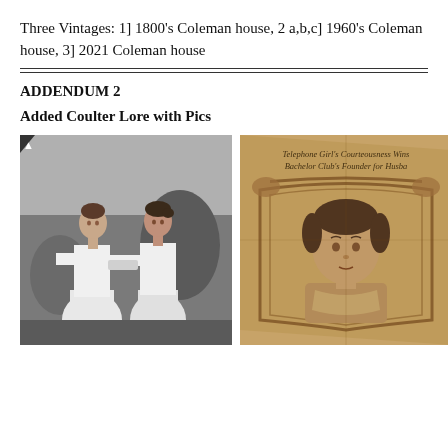Three Vintages: 1] 1800's Coleman house, 2 a,b,c] 1960's Coleman house, 3] 2021 Coleman house
ADDENDUM 2
Added Coulter Lore with Pics
[Figure (photo): Black and white photograph of two women in white dresses, early 1900s style]
[Figure (photo): Sepia newspaper clipping showing a portrait of a woman with headline: Telephone Girl's Courteousness Wins Bachelor Club's Founder for Husba[nd]]